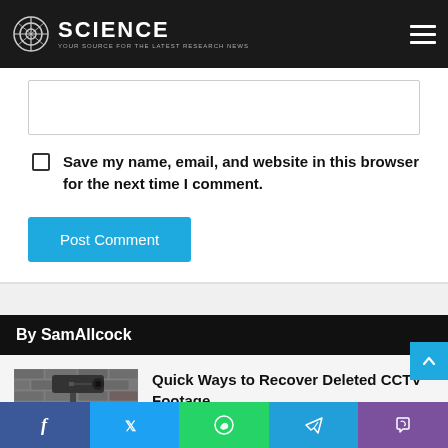SCIENCE — Your source for the latest research news
[Figure (screenshot): Text input box / comment form field]
Save my name, email, and website in this browser for the next time I comment.
Post Comment
By SamAllcock
[Figure (photo): CCTV camera mounted on a brick wall with a yellow warning sign below it]
Quick Ways to Recover Deleted CCTV Footage
November 25, 2021
Social share buttons: Facebook, Twitter, WhatsApp, Telegram, Viber